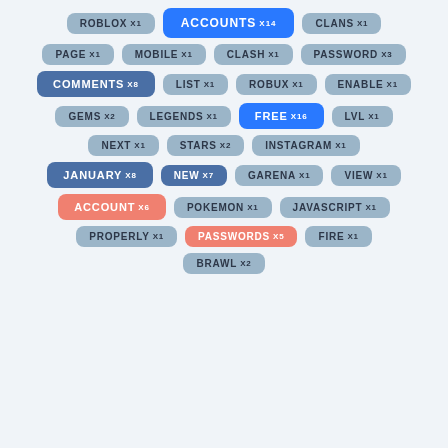[Figure (infographic): Tag cloud showing keyword frequency badges. Tags include: ROBLOX x1, ACCOUNTS x14 (bright blue), CLANS x1, PAGE x1, MOBILE x1, CLASH x1, PASSWORD x3, COMMENTS x8 (dark blue), LIST x1, ROBUX x1, ENABLE x1, GEMS x2, LEGENDS x1, FREE x16 (bright blue), LVL x1, NEXT x1, STARS x2, INSTAGRAM x1, JANUARY x8 (dark blue), NEW x7 (dark blue), GARENA x1, VIEW x1, ACCOUNT x6 (orange), POKEMON x1, JAVASCRIPT x1, PROPERLY x1, PASSWORDS x5 (orange), FIRE x1, BRAWL x2]